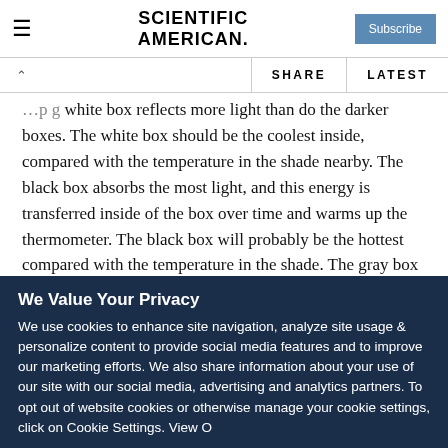Scientific American
white box reflects more light than do the darker boxes. The white box should be the coolest inside, compared with the temperature in the shade nearby. The black box absorbs the most light, and this energy is transferred inside of the box over time and warms up the thermometer. The black box will probably be the hottest compared with the temperature in the shade. The gray box absorbs some light, so it will also be warmed up, but its temperature will be somewhere in between.
We Value Your Privacy
We use cookies to enhance site navigation, analyze site usage & personalize content to provide social media features and to improve our marketing efforts. We also share information about your use of our site with our social media, advertising and analytics partners. To opt out of website cookies or otherwise manage your cookie settings, click on Cookie Settings. View Our Privacy Policy.